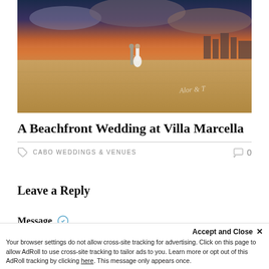[Figure (photo): A couple in wedding attire standing on a sandy beach at sunset with dramatic cloudy sky. The bride is in a white dress and the groom in light-colored suit. A watermark signature is visible in the lower right of the image.]
A Beachfront Wedding at Villa Marcella
CABO WEDDINGS & VENUES    0
Leave a Reply
Message
Accept and Close ×
Your browser settings do not allow cross-site tracking for advertising. Click on this page to allow AdRoll to use cross-site tracking to tailor ads to you. Learn more or opt out of this AdRoll tracking by clicking here. This message only appears once.